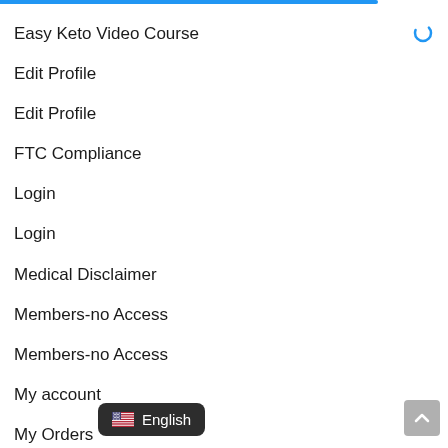[Figure (other): Blue progress bar at top of page]
Easy Keto Video Course
Edit Profile
Edit Profile
FTC Compliance
Login
Login
Medical Disclaimer
Members-no Access
Members-no Access
My account
My Orders
Page N
[Figure (other): Language selector badge showing US flag and 'English' text on dark rounded rectangle background]
[Figure (other): Scroll to top button, grey rounded square with up arrow]